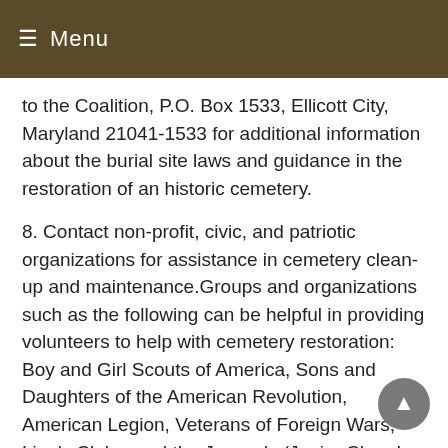≡ Menu
to the Coalition, P.O. Box 1533, Ellicott City, Maryland 21041-1533 for additional information about the burial site laws and guidance in the restoration of an historic cemetery.
8. Contact non-profit, civic, and patriotic organizations for assistance in cemetery clean-up and maintenance.Groups and organizations such as the following can be helpful in providing volunteers to help with cemetery restoration: Boy and Girl Scouts of America, Sons and Daughters of the American Revolution, American Legion, Veterans of Foreign Wars, Lion's Clubs, and the Jaycee's (Junior Chamber of Commerce). Other local groups to contact include church senior high youth groups, garden clubs, community associations, middle and high schools (that have students with community service requirements to fulfill before graduation) and the local sheriff's office (that may be able to